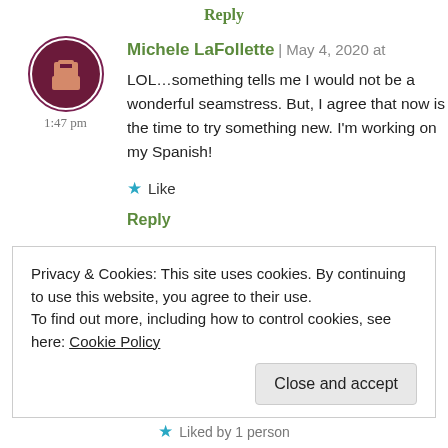Reply
[Figure (illustration): Circular avatar with dark maroon/purple border showing a pixel-art style person icon on dark maroon background]
Michele LaFollette | May 4, 2020 at 1:47 pm
LOL…something tells me I would not be a wonderful seamstress. But, I agree that now is the time to try something new. I'm working on my Spanish!
★ Like
Reply
Privacy & Cookies: This site uses cookies. By continuing to use this website, you agree to their use.
To find out more, including how to control cookies, see here: Cookie Policy
Close and accept
Liked by 1 person